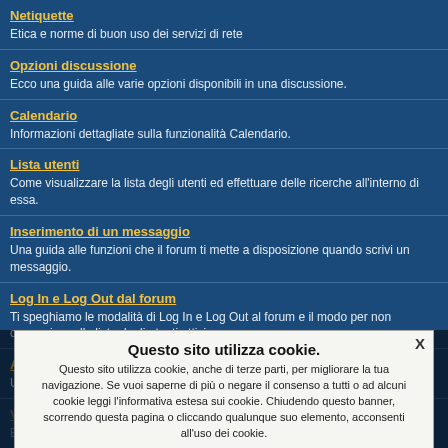Netiquette
Etica e norme di buon uso dei servizi di rete
Opzioni discussione
Ecco una guida alle varie opzioni disponibili in una discussione.
Calendario
Informazioni dettagliate sulla funzionalità Calendario.
Lista utenti
Come visualizzare la lista degli utenti ed effettuare delle ricerche all'interno di essa.
Inserimento di un messaggio
Una guida alle funzioni che il forum ti mette a disposizione quando scrivi un messaggio.
Log In e Log Out dal forum
Ti speghiamo le modalità di Log In e Log Out al forum e il modo per non comparire nella lista degli utenti attivi.
Assistente
Una guida completa per utilizzare questa utile funzionalità.
Questo sito utilizza cookie.
Questo sito utilizza cookie, anche di terze parti, per migliorare la tua navigazione. Se vuoi saperne di più o negare il consenso a tutti o ad alcuni cookie leggi l'informativa estesa sui cookie. Chiudendo questo banner, scorrendo questa pagina o cliccando qualunque suo elemento, acconsenti all'uso dei cookie.
Continua   Leggi di più